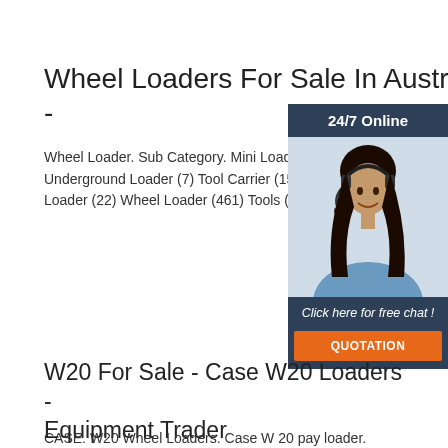Wheel Loaders For Sale In Australia -
Wheel Loader. Sub Category. Mini Loader (30) Underground Loader (7) Tool Carrier (15) Log Other Loader (22) Wheel Loader (461) Tools (
[Figure (photo): Advertisement panel with a woman wearing a headset, dark blue background, '24/7 Online' header, 'Click here for free chat!' text, and an orange 'QUOTATION' button.]
W20 For Sale - Case W20 Loaders - Equipment Trader
CASE. W20 Wheel Loaders. Case W 20 pay loader.